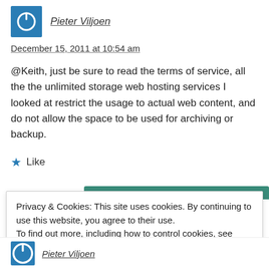[Figure (illustration): Blue square avatar icon with a power/circle symbol in white]
Pieter Viljoen
December 15, 2011 at 10:54 am
@Keith, just be sure to read the terms of service, all the the unlimited storage web hosting services I looked at restrict the usage to actual web content, and do not allow the space to be used for archiving or backup.
★ Like
Privacy & Cookies: This site uses cookies. By continuing to use this website, you agree to their use.
To find out more, including how to control cookies, see here: Cookie Policy
Close and accept
[Figure (illustration): Blue square avatar icon with a power/circle symbol in white]
Pieter Viljoen